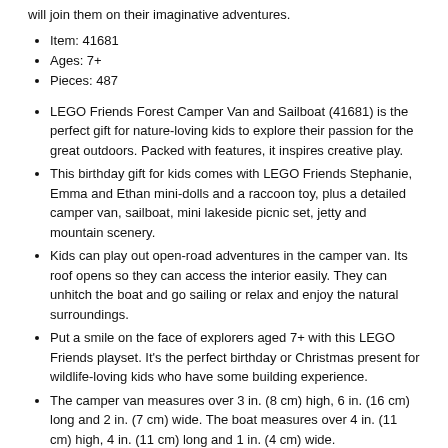will join them on their imaginative adventures.
Item: 41681
Ages: 7+
Pieces: 487
LEGO Friends Forest Camper Van and Sailboat (41681) is the perfect gift for nature-loving kids to explore their passion for the great outdoors. Packed with features, it inspires creative play.
This birthday gift for kids comes with LEGO Friends Stephanie, Emma and Ethan mini-dolls and a raccoon toy, plus a detailed camper van, sailboat, mini lakeside picnic set, jetty and mountain scenery.
Kids can play out open-road adventures in the camper van. Its roof opens so they can access the interior easily. They can unhitch the boat and go sailing or relax and enjoy the natural surroundings.
Put a smile on the face of explorers aged 7+ with this LEGO Friends playset. It's the perfect birthday or Christmas present for wildlife-loving kids who have some building experience.
The camper van measures over 3 in. (8 cm) high, 6 in. (16 cm) long and 2 in. (7 cm) wide. The boat measures over 4 in. (11 cm) high, 4 in. (11 cm) long and 1 in. (4 cm) wide.
This set comes with lots of cool functions for maximum play value.